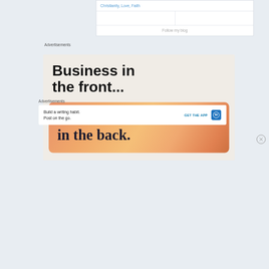| Christianity, Love, Faith |
|  |  |
| Follow my blog |
Advertisements
[Figure (infographic): WordPress advertisement: 'Business in the front...' text on beige background above an orange rounded box with 'WordPress in the back.' text]
[Figure (illustration): Close/dismiss button circle with X]
Advertisements
[Figure (infographic): WordPress app ad: 'Build a writing habit. Post on the go.' with GET THE APP button and WordPress logo icon]